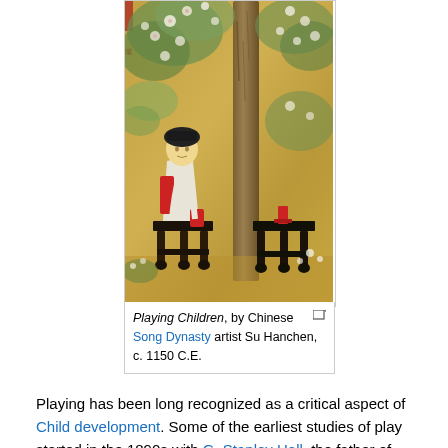[Figure (illustration): Chinese Song Dynasty painting showing children playing near ornate wooden stands/tables, with a tree and flowering branches in the background. By artist Su Hanchen, c. 1150 C.E.]
Playing Children, by Chinese Song Dynasty artist Su Hanchen, c. 1150 C.E.
Playing has been long recognized as a critical aspect of Child development. Some of the earliest studies of play started in the 1890s with G. Stanley Hall, the father of the